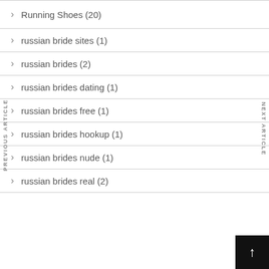Running Shoes (20)
russian bride sites (1)
russian brides (2)
russian brides dating (1)
russian brides free (1)
russian brides hookup (1)
russian brides nude (1)
russian brides real (2)